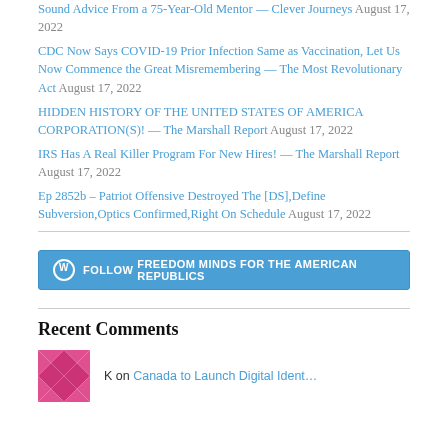Sound Advice From a 75-Year-Old Mentor — Clever Journeys August 17, 2022
CDC Now Says COVID-19 Prior Infection Same as Vaccination, Let Us Now Commence the Great Misremembering — The Most Revolutionary Act August 17, 2022
HIDDEN HISTORY OF THE UNITED STATES OF AMERICA CORPORATION(S)! — The Marshall Report August 17, 2022
IRS Has A Real Killer Program For New Hires! — The Marshall Report August 17, 2022
Ep 2852b – Patriot Offensive Destroyed The [DS],Define Subversion,Optics Confirmed,Right On Schedule August 17, 2022
[Figure (other): Follow button for FREEDOM MINDS FOR THE AMERICAN REPUBLICS WordPress blog]
Recent Comments
K on Canada to Launch Digital Ident…